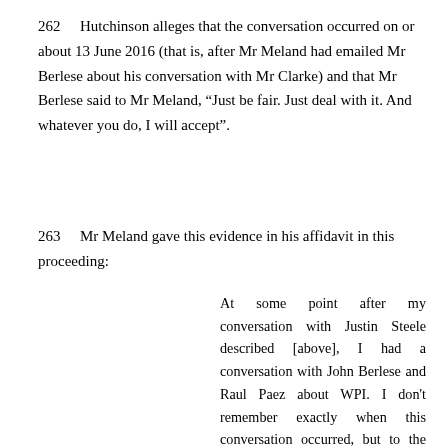262    Hutchinson alleges that the conversation occurred on or about 13 June 2016 (that is, after Mr Meland had emailed Mr Berlese about his conversation with Mr Clarke) and that Mr Berlese said to Mr Meland, “Just be fair. Just deal with it. And whatever you do, I will accept”.
263    Mr Meland gave this evidence in his affidavit in this proceeding:
At some point after my conversation with Justin Steele described [above], I had a conversation with John Berlese and Raul Paez about WPI. I don't remember exactly when this conversation occurred, but to the best of my recollection it was no more than a week before Hutchinson terminated its